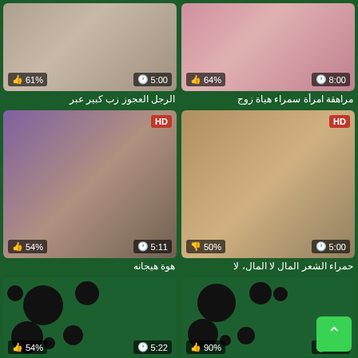[Figure (screenshot): Video thumbnail grid showing 4 video cards with Arabic titles, like/dislike percentages and durations, plus 2 blurred cards at bottom]
الرجل العجوز زب كبير عبر
مراهقة امرأة سمراء هياة زوج
هوة هيجانه
حمراء الشعر المال لا المال، لا